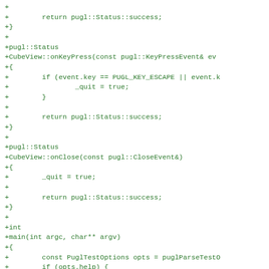[Figure (screenshot): Code diff snippet showing C++ source code additions in green monospace font on white background. Shows implementations of CubeView::onKeyPress, CubeView::onClose, and main functions with pugl library calls.]